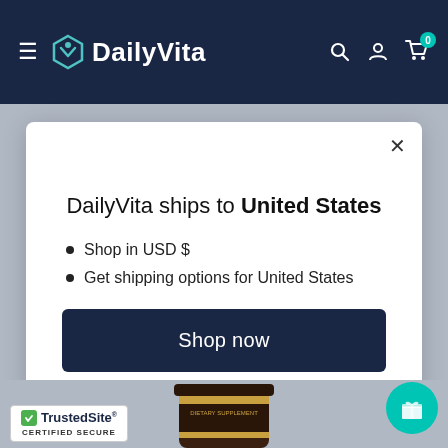[Figure (screenshot): DailyVita website header with navy background, hamburger menu, DailyVita logo with teal shield icon, search, user, and cart icons]
DailyVita ships to United States
Shop in USD $
Get shipping options for United States
Shop now
Change shipping country
[Figure (logo): TrustedSite Certified Secure badge]
[Figure (photo): Dietary supplement jar partially visible at bottom of page]